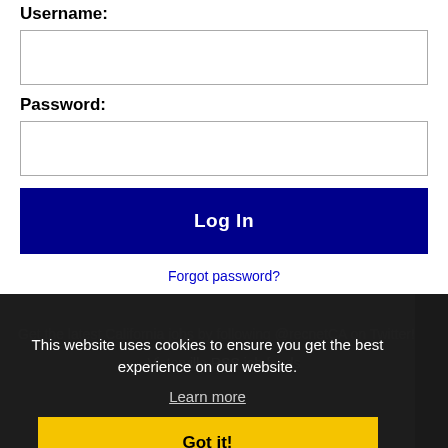Username:
Password:
Log In
Forgot password?
This website uses cookies to ensure you get the best experience on our website.
Learn more
Get the latest California jobs by following @recnetCA on Twitter!
Got it!
Victorville RSS job feeds